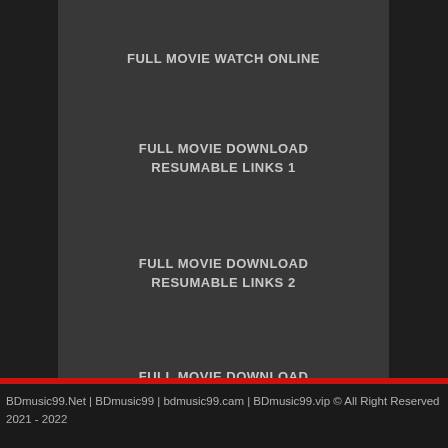FULL MOVIE WATCH ONLINE
FULL MOVIE DOWNLOAD
RESUMABLE LINKS 1
FULL MOVIE DOWNLOAD
RESUMABLE LINKS 2
FULL MOVIE DOWNLOAD
RESUMABLE LINKS 3
BDmusic99.Net | BDmusic99 | bdmusic99.cam | BDmusic99.vip © All Right Reserved 2021 - 2022